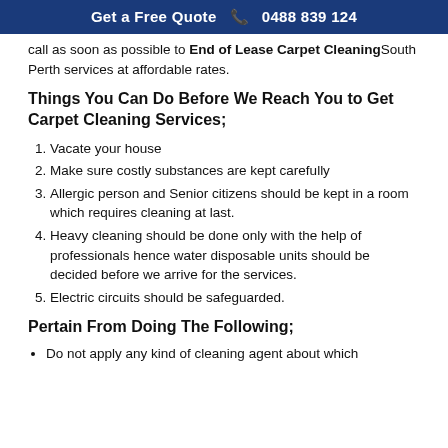Get a Free Quote 📞 0488 839 124
call as soon as possible to End of Lease Carpet CleaningSouth Perth services at affordable rates.
Things You Can Do Before We Reach You to Get Carpet Cleaning Services;
Vacate your house
Make sure costly substances are kept carefully
Allergic person and Senior citizens should be kept in a room which requires cleaning at last.
Heavy cleaning should be done only with the help of professionals hence water disposable units should be decided before we arrive for the services.
Electric circuits should be safeguarded.
Pertain From Doing The Following;
Do not apply any kind of cleaning agent about which